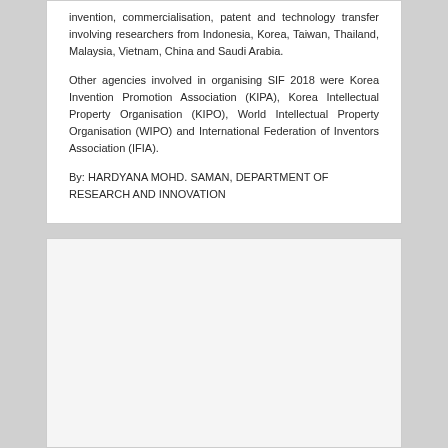invention, commercialisation, patent and technology transfer involving researchers from Indonesia, Korea, Taiwan, Thailand, Malaysia, Vietnam, China and Saudi Arabia.
Other agencies involved in organising SIF 2018 were Korea Invention Promotion Association (KIPA), Korea Intellectual Property Organisation (KIPO), World Intellectual Property Organisation (WIPO) and International Federation of Inventors Association (IFIA).
By: HARDYANA MOHD. SAMAN, DEPARTMENT OF RESEARCH AND INNOVATION